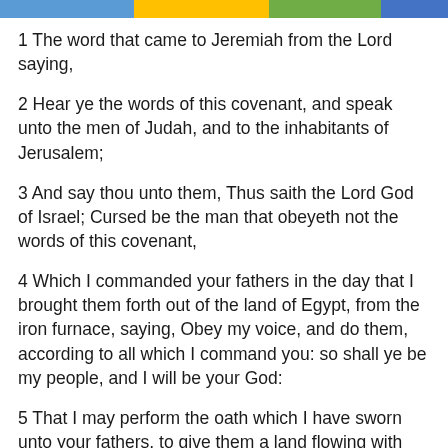1 The word that came to Jeremiah from the Lord saying,
2 Hear ye the words of this covenant, and speak unto the men of Judah, and to the inhabitants of Jerusalem;
3 And say thou unto them, Thus saith the Lord God of Israel; Cursed be the man that obeyeth not the words of this covenant,
4 Which I commanded your fathers in the day that I brought them forth out of the land of Egypt, from the iron furnace, saying, Obey my voice, and do them, according to all which I command you: so shall ye be my people, and I will be your God:
5 That I may perform the oath which I have sworn unto your fathers, to give them a land flowing with milk and honey, as it is this day. Then answered I, and said, So be it, O